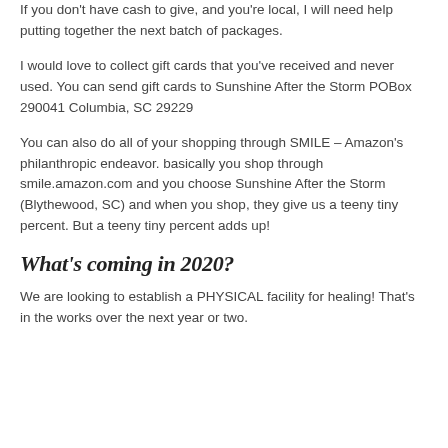If you don't have cash to give, and you're local, I will need help putting together the next batch of packages.
I would love to collect gift cards that you've received and never used. You can send gift cards to Sunshine After the Storm POBox 290041 Columbia, SC 29229
You can also do all of your shopping through SMILE – Amazon's philanthropic endeavor. basically you shop through smile.amazon.com and you choose Sunshine After the Storm (Blythewood, SC) and when you shop, they give us a teeny tiny percent. But a teeny tiny percent adds up!
What's coming in 2020?
We are looking to establish a PHYSICAL facility for healing! That's in the works over the next year or two.